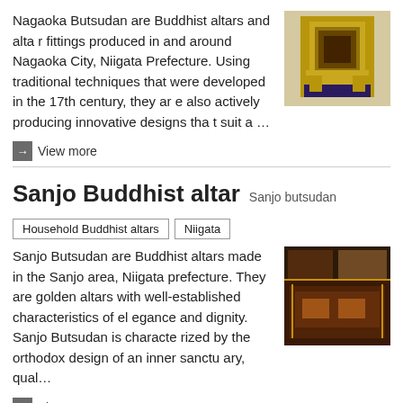Nagaoka Butsudan are Buddhist altars and altar fittings produced in and around Nagaoka City, Niigata Prefecture. Using traditional techniques that were developed in the 17th century, they are also actively producing innovative designs that suit a …
[Figure (photo): Photo of a golden Buddhist altar (Nagaoka Butsudan)]
→ View more
Sanjo Buddhist altar  Sanjo butsudan
Household Buddhist altars
Niigata
Sanjo Butsudan are Buddhist altars made in the Sanjo area, Niigata prefecture. They are golden altars with well-established characteristics of elegance and dignity. Sanjo Butsudan is characterized by the orthodox design of an inner sanctuary, qual…
[Figure (photo): Photo of a Sanjo Buddhist altar interior showing golden and dark lacquered details]
→ View more
Household Buddhist altars